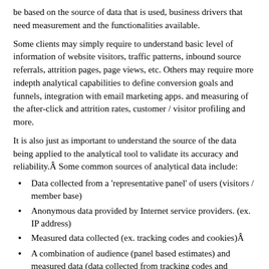be based on the source of data that is used, business drivers that need measurement and the functionalities available.
Some clients may simply require to understand basic level of information of website visitors, traffic patterns, inbound source referrals, attrition pages, page views, etc. Others may require more indepth analytical capabilities to define conversion goals and funnels, integration with email marketing apps. and measuring of the after-click and attrition rates, customer / visitor profiling and more.
It is also just as important to understand the source of the data being applied to the analytical tool to validate its accuracy and reliability.Â Some common sources of analytical data include:
Data collected from a ‘representative panel’ of users (visitors / member base)
Anonymous data provided by Internet service providers. (ex. IP address)
Measured data collected (ex. tracking codes and cookies)Â
A combination of audience (panel based estimates) and measured data (data collected from tracking codes and cookies).
Tool app. data (ex.Â tool bar applications Yahoo!, Google etc.).